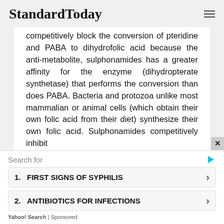StandardToday
competitively block the conversion of pteridine and PABA to dihydrofolic acid because the anti-metabolite, sulphonamides has a greater affinity for the enzyme (dihydropterate synthetase) that performs the conversion than does PABA. Bacteria and protozoa unlike most mammalian or animal cells (which obtain their own folic acid from their diet) synthesize their own folic acid. Sulphonamides competitively inhibit
Search for
1. FIRST SIGNS OF SYPHILIS
2. ANTIBIOTICS FOR INFECTIONS
Yahoo! Search | Sponsored